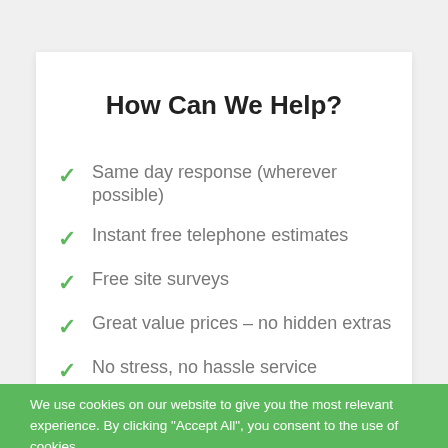How Can We Help?
Same day response (wherever possible)
Instant free telephone estimates
Free site surveys
Great value prices – no hidden extras
No stress, no hassle service
A proper job, guaranteed!
We use cookies on our website to give you the most relevant experience. By clicking "Accept All", you consent to the use of cookies.
Cookie Settings | Accept All